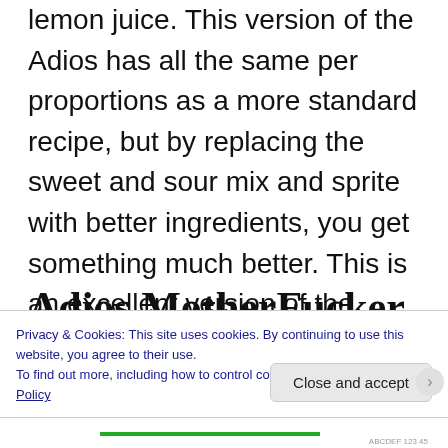lemon juice. This version of the Adios has all the same per proportions as a more standard recipe, but by replacing the sweet and sour mix and sprite with better ingredients, you get something much better. This is an excellent version of the adios.
Adios MotherFucker Vs
Privacy & Cookies: This site uses cookies. By continuing to use this website, you agree to their use.
To find out more, including how to control cookies, see here: Cookie Policy